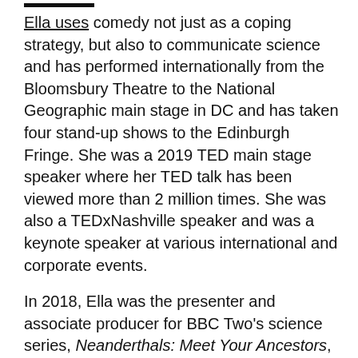Ella uses comedy not just as a coping strategy, but also to communicate science and has performed internationally from the Bloomsbury Theatre to the National Geographic main stage in DC and has taken four stand-up shows to the Edinburgh Fringe. She was a 2019 TED main stage speaker where her TED talk has been viewed more than 2 million times. She was also a TEDxNashville speaker and was a keynote speaker at various international and corporate events.
In 2018, Ella was the presenter and associate producer for BBC Two's science series, Neanderthals: Meet Your Ancestors, as well as Horizon: Body Clock - What Makes Your Body Tick. She then went on to present a National Geographic show on Viking Warrior Women where during filming she discovered what might be the first evidence of a battle injury on a female Viking warrior. This discovery was widely reported on by the international press. In 2020 she also presented on programmes such as Jungle Mystery: Lost Kingdoms of the Amazon (Channel 4) and Waterhole: Africa's